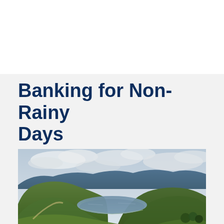Banking for Non-Rainy Days
[Figure (photo): Landscape photograph showing a reservoir or lake nestled among rolling green hills with blue-green forested mountains in the background under a cloudy sky.]